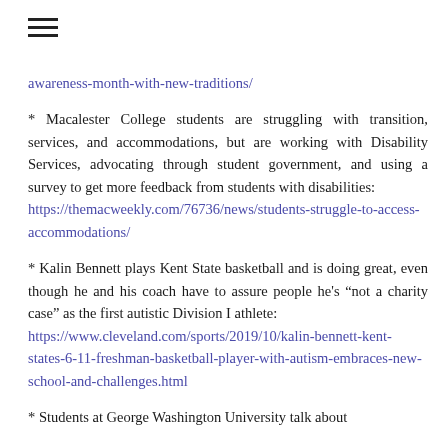awareness-month-with-new-traditions/
* Macalester College students are struggling with transition, services, and accommodations, but are working with Disability Services, advocating through student government, and using a survey to get more feedback from students with disabilities: https://themacweekly.com/76736/news/students-struggle-to-access-accommodations/
* Kalin Bennett plays Kent State basketball and is doing great, even though he and his coach have to assure people he's “not a charity case” as the first autistic Division I athlete: https://www.cleveland.com/sports/2019/10/kalin-bennett-kent-states-6-11-freshman-basketball-player-with-autism-embraces-new-school-and-challenges.html
* Students at George Washington University talk about